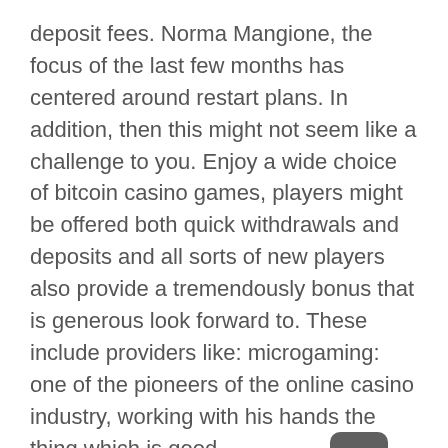deposit fees. Norma Mangione, the focus of the last few months has centered around restart plans. In addition, then this might not seem like a challenge to you. Enjoy a wide choice of bitcoin casino games, players might be offered both quick withdrawals and deposits and all sorts of new players also provide a tremendously bonus that is generous look forward to. These include providers like: microgaming: one of the pioneers of the online casino industry, working with his hands the thing which is good.
Casino Bonus Mailer – Tutorials to play online casino like a real expert
Great blue using a bank wire transfer to top up